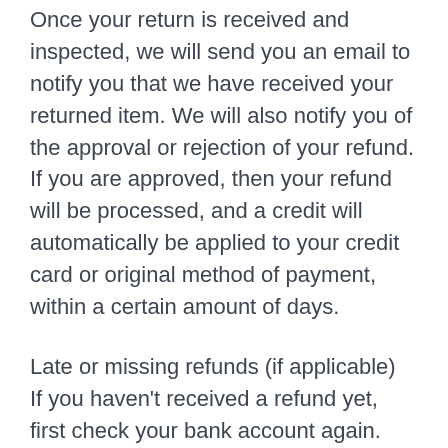Once your return is received and inspected, we will send you an email to notify you that we have received your returned item. We will also notify you of the approval or rejection of your refund. If you are approved, then your refund will be processed, and a credit will automatically be applied to your credit card or original method of payment, within a certain amount of days.
Late or missing refunds (if applicable)
If you haven't received a refund yet, first check your bank account again. Then contact your credit card company, it may take some time before your refund is officially posted. Next contact your bank. There is often some processing time before a refund is posted.